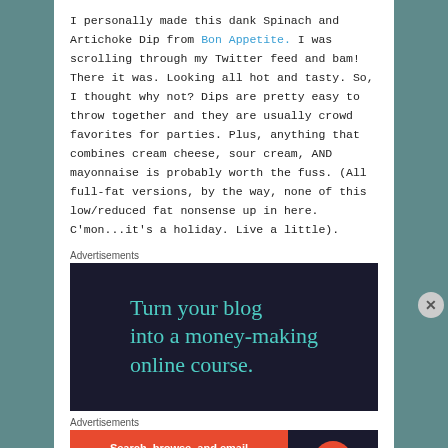I personally made this dank Spinach and Artichoke Dip from Bon Appetite. I was scrolling through my Twitter feed and bam! There it was. Looking all hot and tasty. So, I thought why not? Dips are pretty easy to throw together and they are usually crowd favorites for parties. Plus, anything that combines cream cheese, sour cream, AND mayonnaise is probably worth the fuss. (All full-fat versions, by the way, none of this low/reduced fat nonsense up in here. C'mon...it's a holiday. Live a little).
Advertisements
[Figure (infographic): Dark navy background advertisement reading 'Turn your blog into a money-making online course.' in teal/cyan serif font.]
Advertisements
[Figure (infographic): DuckDuckGo advertisement with orange left panel reading 'Search, browse, and email with more privacy. All in One Free App' and dark right panel with DuckDuckGo logo.]